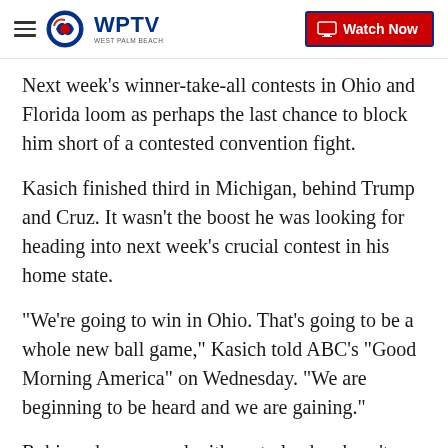WPTV West Palm Beach — Watch Now
Next week's winner-take-all contests in Ohio and Florida loom as perhaps the last chance to block him short of a contested convention fight.
Kasich finished third in Michigan, behind Trump and Cruz. It wasn't the boost he was looking for heading into next week's crucial contest in his home state.
"We're going to win in Ohio. That's going to be a whole new ball game," Kasich told ABC's "Good Morning America" on Wednesday. "We are beginning to be heard and we are gaining."
Rubio, whose appeal with party leaders hasn't been reciprocated by voters, insisted he would press on to